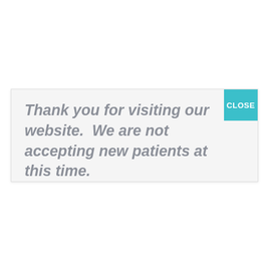[Figure (screenshot): A modal dialog box with a light gray background and a teal 'CLOSE' button in the top-right corner, containing italic bold gray text.]
Thank you for visiting our website.  We are not accepting new patients at this time.